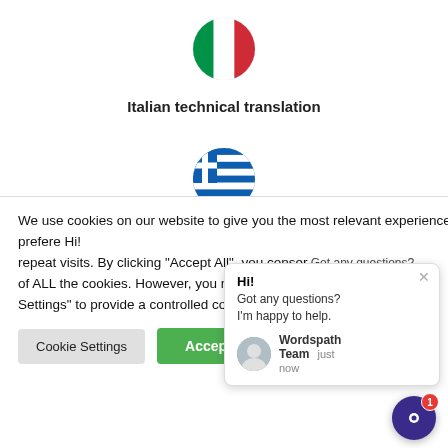[Figure (illustration): Italian flag emoji (circular) — green, white, red vertical thirds]
Italian technical translation
[Figure (illustration): Greek flag emoji (circular) — blue and white horizontal stripes with cross]
Greek technical translation
[Figure (illustration): Russian flag emoji (circular) — white, blue, red horizontal thirds, partially visible]
We use cookies on our website to give you the most relevant experience by remembering your preferences and repeat visits. By clicking "Accept All", you consent to the use of ALL the cookies. However, you may visit "Cookie Settings" to provide a controlled consent.
Cookie Settings
Accept All
Hi!
Got any questions?
I'm happy to help.
Wordspath Team  just now